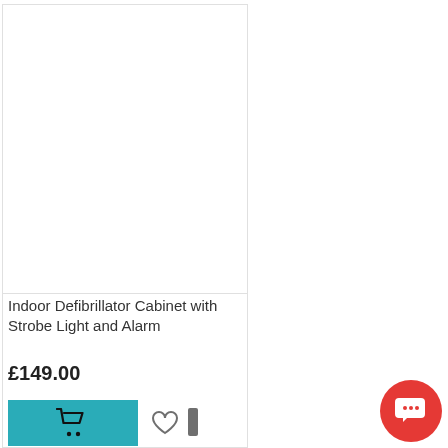[Figure (photo): Product image area for Indoor Defibrillator Cabinet with Strobe Light and Alarm — white/empty image area within a product card]
Indoor Defibrillator Cabinet with Strobe Light and Alarm
£149.00
[Figure (other): Teal/cyan Add to Cart button with shopping cart icon]
[Figure (other): Red circular chat/message button in lower right corner]